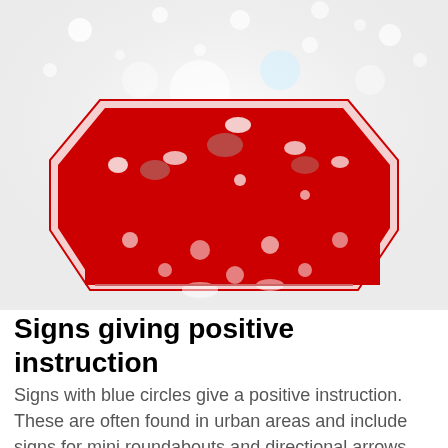[Figure (illustration): An illustration of a red crown-like road sign (resembling a 'No Entry' or hazard sign) with a jagged top edge forming triangular spikes, set against a snowy/sparkle background with white snowflake dots. The sign has a hexagonal/octagonal shape with a red and white border.]
Signs giving positive instruction
Signs with blue circles give a positive instruction. These are often found in urban areas and include signs for mini roundabouts and directional arrows. The sign below shows a